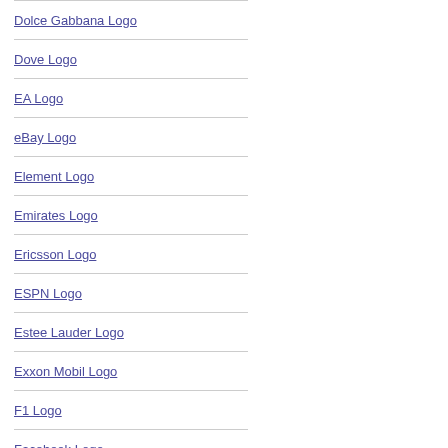Dolce Gabbana Logo
Dove Logo
EA Logo
eBay Logo
Element Logo
Emirates Logo
Ericsson Logo
ESPN Logo
Estee Lauder Logo
Exxon Mobil Logo
F1 Logo
Facebook Logo
FBI Logo